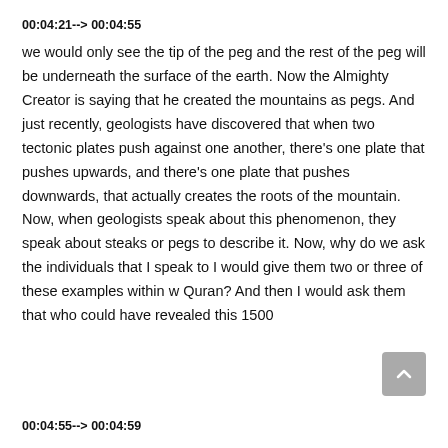00:04:21--> 00:04:55
we would only see the tip of the peg and the rest of the peg will be underneath the surface of the earth. Now the Almighty Creator is saying that he created the mountains as pegs. And just recently, geologists have discovered that when two tectonic plates push against one another, there's one plate that pushes upwards, and there's one plate that pushes downwards, that actually creates the roots of the mountain. Now, when geologists speak about this phenomenon, they speak about steaks or pegs to describe it. Now, why do we ask the individuals that I speak to I would give them two or three of these examples within w Quran? And then I would ask them that who could have revealed this 1500
00:04:55--> 00:04:59